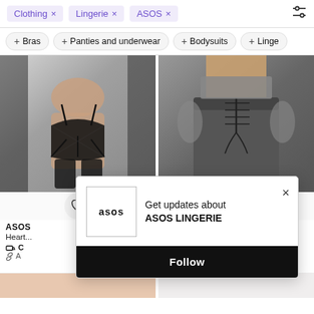Clothing × Lingerie × ASOS ×
+ Bras + Panties and underwear + Bodysuits + Linge...
[Figure (photo): Close-up of model wearing black lace lingerie with garter belt and straps]
[Figure (photo): Close-up of model wearing dark grey pants with lace-up detail at back waistband]
ASOS
Heart...
ASOS
[Figure (screenshot): Popup modal: Get updates about ASOS LINGERIE with Follow button and ASOS logo]